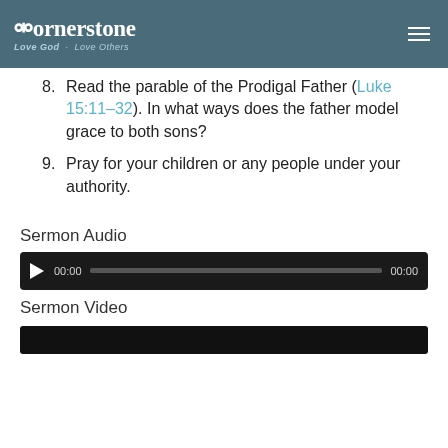Cornerstone Love God · Love Others
8. Read the parable of the Prodigal Father (Luke 15:11-32). In what ways does the father model grace to both sons?
9. Pray for your children or any people under your authority.
Sermon Audio
[Figure (other): Audio player bar with play button, 00:00 time counter, progress bar, and 00:00 duration]
Sermon Video
[Figure (other): Video player strip (dark bar, partial view)]